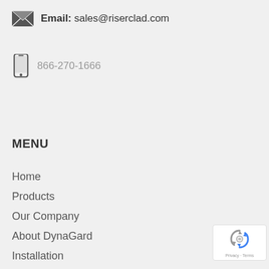Email: sales@riserclad.com
866-270-1666
MENU
Home
Products
Our Company
About DynaGard
Installation
Blog
Contact Us
[Figure (logo): reCAPTCHA badge with recycling arrows logo and Privacy - Terms text]